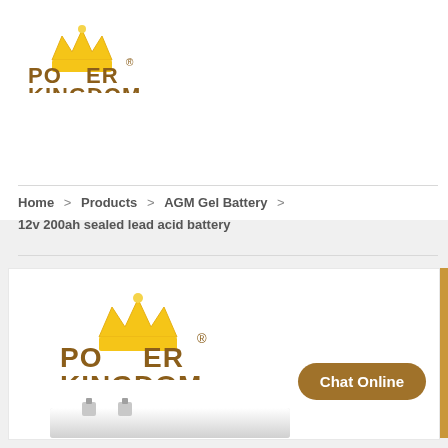[Figure (logo): Power Kingdom logo with golden crown and brown text in page header]
Home  >  Products  >  AGM Gel Battery  >  12v 200ah sealed lead acid battery
[Figure (logo): Power Kingdom logo with golden crown and brown text inside product image box]
[Figure (photo): Partial view of a white sealed lead acid battery at the bottom of the product image area]
Chat Online